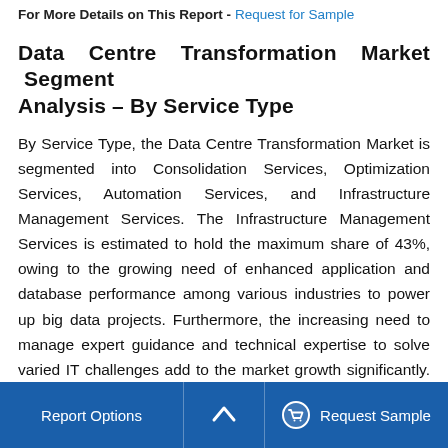For More Details on This Report - Request for Sample
Data Centre Transformation Market Segment Analysis – By Service Type
By Service Type, the Data Centre Transformation Market is segmented into Consolidation Services, Optimization Services, Automation Services, and Infrastructure Management Services. The Infrastructure Management Services is estimated to hold the maximum share of 43%, owing to the growing need of enhanced application and database performance among various industries to power up big data projects. Furthermore, the increasing need to manage expert guidance and technical expertise to solve varied IT challenges add to the market growth significantly. In June 2019, Microsoft Corporation and
Report Options   ^   Request Sample